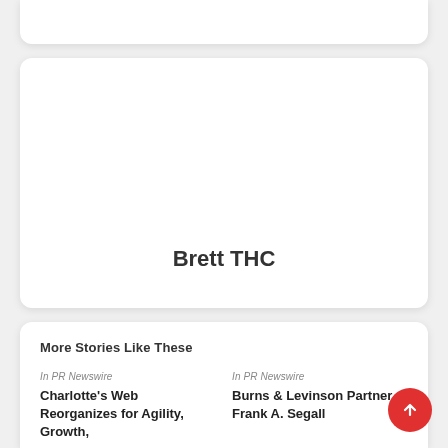[Figure (other): Partial white card visible at top of page (bottom edge only)]
Brett THC
More Stories Like These
In PR Newswire
Charlotte's Web Reorganizes for Agility, Growth,
In PR Newswire
Burns & Levinson Partner Frank A. Segall